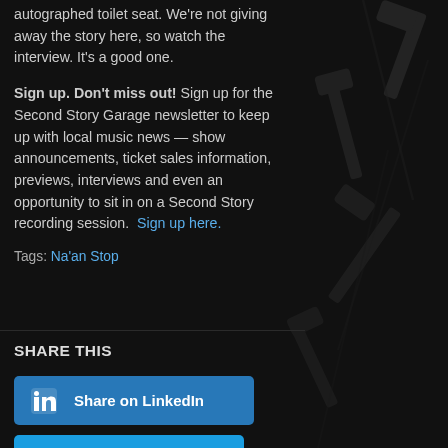autographed toilet seat. We're not giving away the story here, so watch the interview. It's a good one.
Sign up. Don't miss out! Sign up for the Second Story Garage newsletter to keep up with local music news — show announcements, ticket sales information, previews, interviews and even an opportunity to sit in on a Second Story recording session. Sign up here.
Tags: Na'an Stop
SHARE THIS
[Figure (other): Share on LinkedIn button (blue)]
[Figure (other): Share on Twitter button (blue, partially visible)]